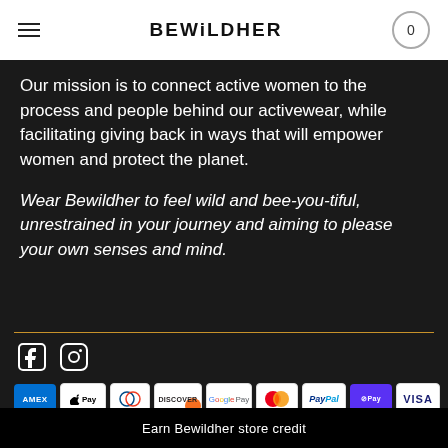BEWiLDHER
Our mission is to connect active women to the process and people behind our activewear, while facilitating giving back in ways that will empower women and protect the planet.
Wear Bewildher to feel wild and bee-you-tiful, unrestrained in your journey and aiming to please your own senses and mind.
[Figure (other): Social media icons: Facebook and Instagram]
[Figure (other): Payment method logos: American Express, Apple Pay, Diners Club, Discover, Google Pay, Mastercard, PayPal, Shop Pay, Visa]
Earn Bewildher store credit